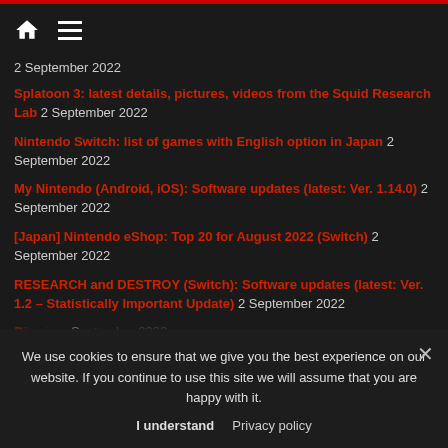Home | Menu
2 September 2022
Splatoon 3: latest details, pictures, videos from the Squid Research Lab 2 September 2022
Nintendo Switch: list of games with English option in Japan 2 September 2022
My Nintendo (Android, iOS): Software updates (latest: Ver. 1.14.0) 2 September 2022
[Japan] Nintendo eShop: Top 20 for August 2022 (Switch) 2 September 2022
RESEARCH and DESTROY (Switch): Software updates (latest: Ver. 1.2 – Statistically Important Update) 2 September 2022
Pikmin [partially obscured] 2 September 2022
SD Gundam Battle Alliance (Switch): Software updates (latest: Ver. 1.10) 2 September 2022
We use cookies to ensure that we give you the best experience on our website. If you continue to use this site we will assume that you are happy with it.
I understand | Privacy policy